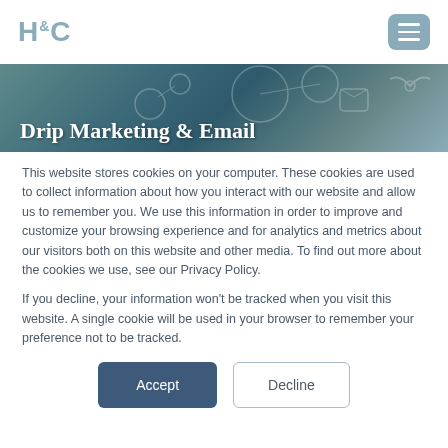H&C [logo] [menu button]
[Figure (photo): Dark teal/blue hero banner with faint network/communication icons overlay, showing partial text 'Drip Marketing & Email']
Drip Marketing & Email
This website stores cookies on your computer. These cookies are used to collect information about how you interact with our website and allow us to remember you. We use this information in order to improve and customize your browsing experience and for analytics and metrics about our visitors both on this website and other media. To find out more about the cookies we use, see our Privacy Policy.
If you decline, your information won't be tracked when you visit this website. A single cookie will be used in your browser to remember your preference not to be tracked.
Accept  Decline